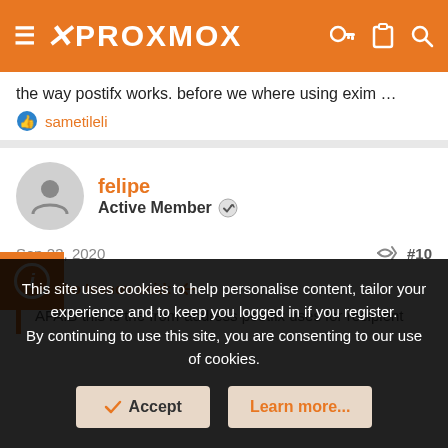PROXMOX
the way postifx works. before we where using exim …
sametileli
felipe
Active Member
Sep 23, 2020  #10
Stoiko Ivanov said:
AFAIB this is the from-address postfix uses for recipient
This site uses cookies to help personalise content, tailor your experience and to keep you logged in if you register.
By continuing to use this site, you are consenting to our use of cookies.
Accept   Learn more...